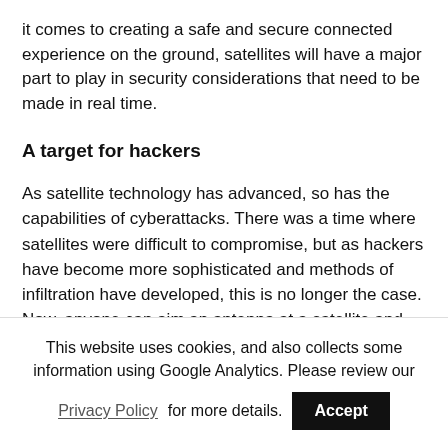it comes to creating a safe and secure connected experience on the ground, satellites will have a major part to play in security considerations that need to be made in real time.
A target for hackers
As satellite technology has advanced, so has the capabilities of cyberattacks. There was a time where satellites were difficult to compromise, but as hackers have become more sophisticated and methods of infiltration have developed, this is no longer the case. Now, anyone can aim an antenna at a satellite and communicate with it, so it is critical that a level of trust is established between the device on Earth, and the satellite itself.
This website uses cookies, and also collects some information using Google Analytics. Please review our Privacy Policy for more details. Accept